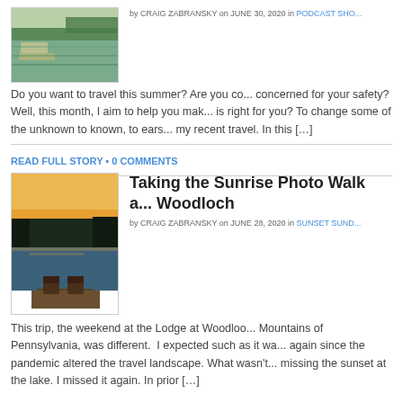[Figure (photo): Aerial photo of a waterway with green areas and docks]
by CRAIG ZABRANSKY on JUNE 30, 2020 in PODCAST SHO...
Do you want to travel this summer? Are you co... concerned for your safety? Well, this month, I aim to help you mak... is right for you? To change some of the unknown to known, to ears... my recent travel. In this [...]
READ FULL STORY • 0 COMMENTS
[Figure (photo): Sunset photo of Adirondack chairs on a dock by a calm lake with trees silhouetted against the sky]
Taking the Sunrise Photo Walk a... Woodloch
by CRAIG ZABRANSKY on JUNE 28, 2020 in SUNSET SUND...
This trip, the weekend at the Lodge at Woodloo... Mountains of Pennsylvania, was different. I expected such as it wa... again since the pandemic altered the travel landscape. What wasn't... missing the sunset at the lake. I missed it again. In prior [...]